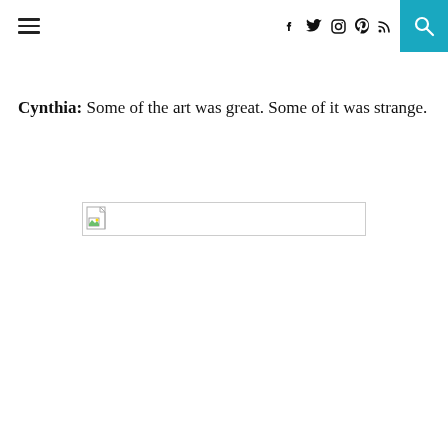≡  f  twitter  instagram  pinterest  rss  [search]
Cynthia:  Some of the art was great. Some of it was strange.
[Figure (photo): Broken/missing image placeholder with small icon on left side, wide rectangular outline]